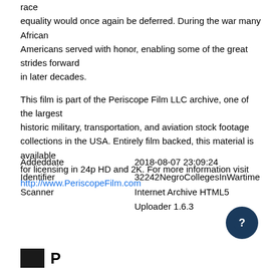race equality would once again be deferred. During the war many African Americans served with honor, enabling some of the great strides forward in later decades.

This film is part of the Periscope Film LLC archive, one of the largest historic military, transportation, and aviation stock footage collections in the USA. Entirely film backed, this material is available for licensing in 24p HD and 2K. For more information visit http://www.PeriscopeFilm.com
| Field | Value |
| --- | --- |
| Addeddate | 2018-08-07 23:09:24 |
| Identifier | 32242NegroCollegesInWartime |
| Scanner | Internet Archive HTML5 Uploader 1.6.3 |